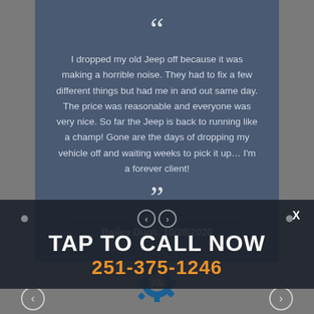I dropped my old Jeep off because it was making a horrible noise. They had to fix a few different things but had me in and out same day. The price was reasonable and everyone was very nice. So far the Jeep is back to running like a champ! Gone are the days of dropping my vehicle off and waiting weeks to pick it up... I'm a forever client!
Bailey Duos, 10/28/2020
TAP TO CALL NOW
251-375-1246